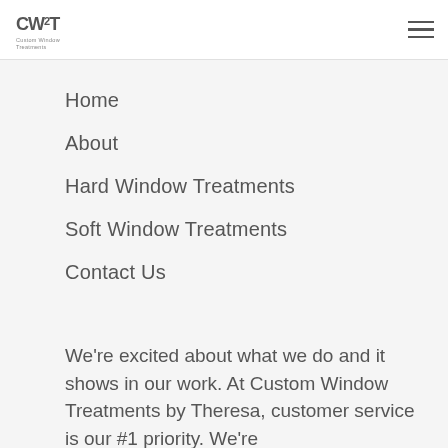CW2T Custom Window Treatments by Theresa — navigation header with hamburger menu
Home
About
Hard Window Treatments
Soft Window Treatments
Contact Us
We're excited about what we do and it shows in our work. At Custom Window Treatments by Theresa, customer service is our #1 priority. We're